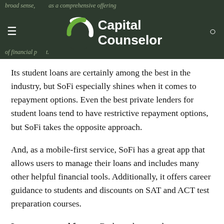broad sense, ...as a comprehensive offering of financial p...t. Capital Counselor
Its student loans are certainly among the best in the industry, but SoFi especially shines when it comes to repayment options. Even the best private lenders for student loans tend to have restrictive repayment options, but SoFi takes the opposite approach.
And, as a mobile-first service, SoFi has a great app that allows users to manage their loans and includes many other helpful financial tools. Additionally, it offers career guidance to students and discounts on SAT and ACT test preparation courses.
Loan terms and fees — Both graduate and